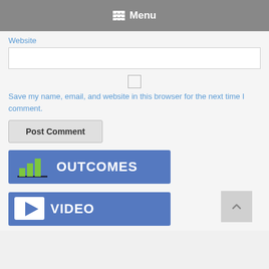Menu
Website
Save my name, email, and website in this browser for the next time I comment.
Post Comment
[Figure (illustration): Blue banner with bar chart icon and text OUTCOMES]
[Figure (illustration): Blue banner with video play button icon and text VIDEO]